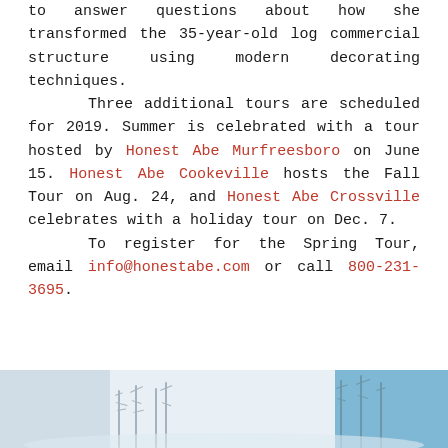designer, Molly Cooper, will be available to answer questions about how she transformed the 35-year-old log commercial structure using modern decorating techniques.

Three additional tours are scheduled for 2019. Summer is celebrated with a tour hosted by Honest Abe Murfreesboro on June 15. Honest Abe Cookeville hosts the Fall Tour on Aug. 24, and Honest Abe Crossville celebrates with a holiday tour on Dec. 7.

To register for the Spring Tour, email info@honestabe.com or call 800-231-3695.
[Figure (photo): Winter landscape photograph showing bare trees against a light blue sky, partially visible at the bottom of the page.]